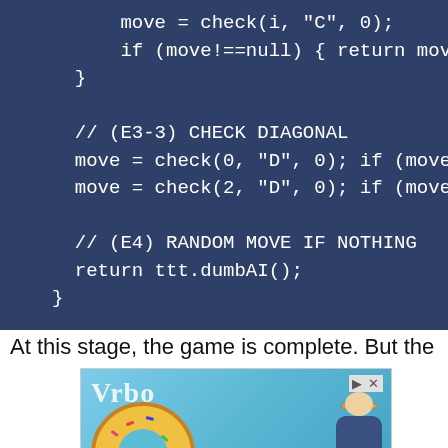[Figure (screenshot): Code block with dark blue background showing JavaScript code snippet: move = check(i, "C", 0); if (move!==null) { return move; } // (E3-3) CHECK DIAGONAL move = check(0, "D", 0); if (move... move = check(2, "D", 0); if (move... // (E4) RANDOM MOVE IF NOTHING return ttt.dumbAI(); }]
At this stage, the game is complete. But the
[Figure (screenshot): Advertisement banner for Vrbo with pool image, donut float, woman with hat, Pool search bar with checkmark, and Book Now button]